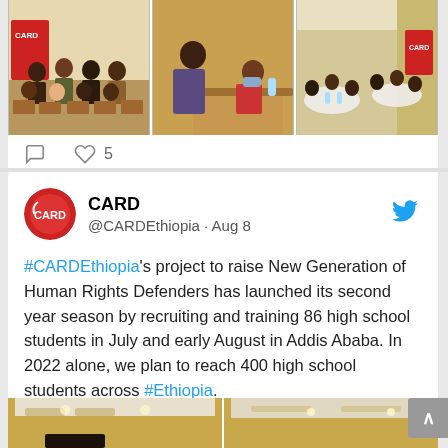[Figure (photo): Three photos from a CARD Ethiopia event showing group of participants seated, a presenter speaking, and attendees at round tables in a conference room.]
♡ 5
[Figure (logo): CARD Ethiopia circular logo in red with white text 'CARD']
CARD @CARDEthiopia · Aug 8
#CARDEthiopia's project to raise New Generation of Human Rights Defenders has launched its second year season by recruiting and training 86 high school students in July and early August in Addis Ababa. In 2022 alone, we plan to reach 400 high school students across #Ethiopia.
[Figure (photo): Two partial photos at the bottom of a conference/event venue with visible ceiling and warm lighting.]